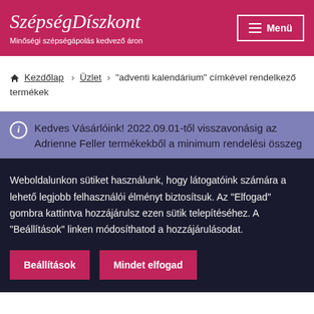SzépségDíszkont – Minőségi szépségápolás kedvező áron
🏠 Kezdőlap › Üzlet › "adventi kalendárium" címkével rendelkező termékek
ℹ Kedves Vásárlóink! 2022.09.01-től visszavonásig az Adrienne Feller termékekből a minimum rendelési összeg
Weboldalunkon sütiket használunk, hogy látogatóink számára a lehető legjobb felhasználói élményt biztosítsuk. Az "Elfogad" gombra kattintva hozzájárulsz ezen sütik telepítéséhez. A "Beállítások" linken módosíthatod a hozzájárulásodat.
Beállítások
Mindet elfogad